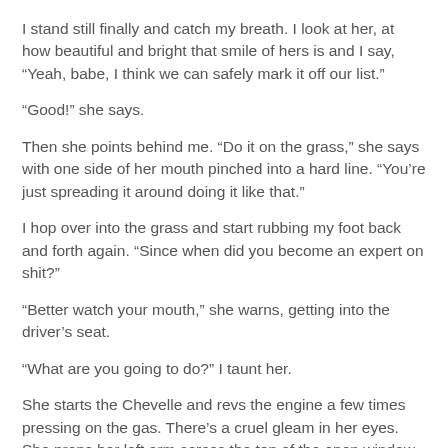I stand still finally and catch my breath. I look at her, at how beautiful and bright that smile of hers is and I say, “Yeah, babe, I think we can safely mark it off our list.”
“Good!” she says.
Then she points behind me. “Do it on the grass,” she says with one side of her mouth pinched into a hard line. “You’re just spreading it around doing it like that.”
I hop over into the grass and start rubbing my foot back and forth again. “Since when did you become an expert on shit?”
“Better watch your mouth,” she warns, getting into the driver’s seat.
“What are you going to do?” I taunt her.
She starts the Chevelle and revs the engine a few times pressing on the gas. There’s a cruel gleam in her eyes. She props her left arm across the top of the open window and